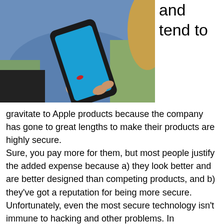[Figure (photo): Person sitting outdoors holding a smartphone with a blue screen, wearing jeans]
and tend to
gravitate to Apple products because the company has gone to great lengths to make their products are highly secure. Sure, you pay more for them, but most people justify the added expense because a) they look better and are better designed than competing products, and b) they’ve got a reputation for being more secure. Unfortunately, even the most secure technology isn’t immune to hacking and other problems. In